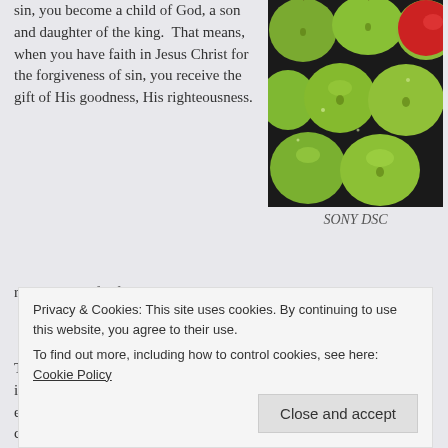sin, you become a child of God, a son and daughter of the king.  That means, when you have faith in Jesus Christ for the forgiveness of sin, you receive the gift of His goodness, His righteousness.
[Figure (photo): Overhead view of multiple green apples and one red apple on a dark background]
SONY DSC
That gift is not like a gift I could give you.  I could give you the new iPhone X, and you could use, put it on your bedside table, lose it, or even break it.  The gift of Jesus' righteousness is not like that.  You can't pick it up and put i... y... a... s...
Privacy & Cookies: This site uses cookies. By continuing to use this website, you agree to their use.
To find out more, including how to control cookies, see here: Cookie Policy
Close and accept